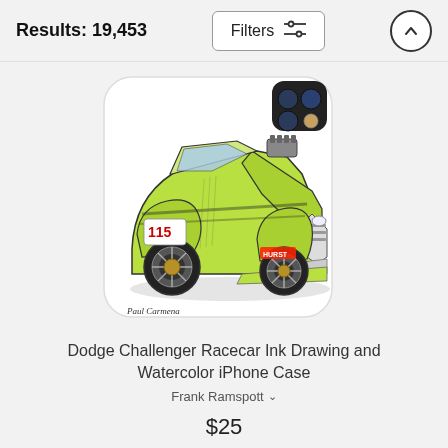Results: 19,453
[Figure (photo): iPhone case featuring a Dodge Challenger racecar ink drawing and watercolor illustration. The phone case shows a yellow-green muscle car with racing modifications on a white case. A smartphone with triple camera module is visible in the top-right corner of the product shot.]
Dodge Challenger Racecar Ink Drawing and Watercolor iPhone Case
Frank Ramspott
$25